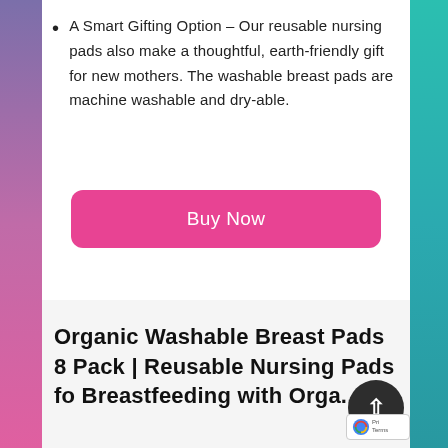A Smart Gifting Option – Our reusable nursing pads also make a thoughtful, earth-friendly gift for new mothers. The washable breast pads are machine washable and dry-able.
[Figure (other): Pink 'Buy Now' button with rounded corners]
Organic Washable Breast Pads 8 Pack | Reusable Nursing Pads fo Breastfeeding with Orga...